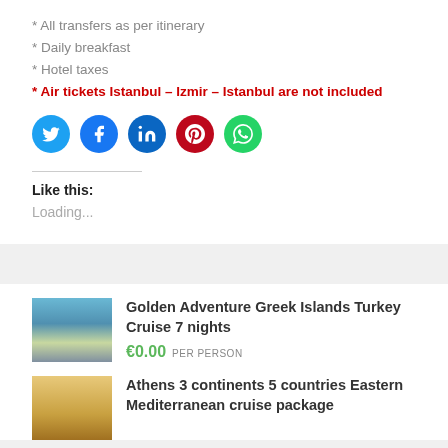* All transfers as per itinerary
* Daily breakfast
* Hotel taxes
* Air tickets Istanbul – Izmir – Istanbul are not included
[Figure (infographic): Row of 5 circular social media share buttons: Twitter (light blue), Facebook (blue), LinkedIn (dark blue), Pinterest (red), WhatsApp (green)]
Like this:
Loading...
Golden Adventure Greek Islands Turkey Cruise 7 nights
€0.00 PER PERSON
Athens 3 continents 5 countries Eastern Mediterranean cruise package